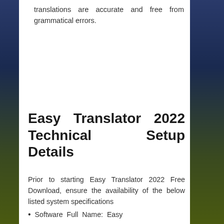translations are accurate and free from grammatical errors.
Easy Translator 2022 Technical Setup Details
Prior to starting Easy Translator 2022 Free Download, ensure the availability of the below listed system specifications
Software Full Name: Easy